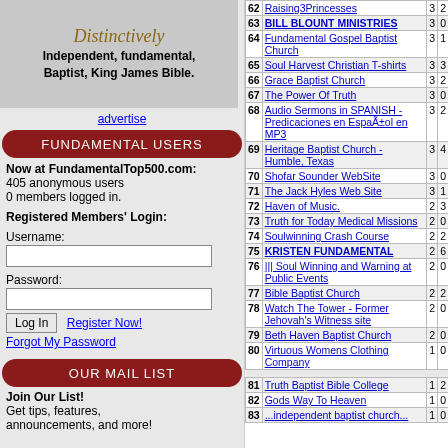[Figure (other): Banner ad: 'Distinctively Independent, fundamental, Baptist, King James Bible.']
advertise
FUNDAMENTAL USERS
Now at FundamentalTop500.com:
405 anonymous users
0 members logged in.
Registered Members' Login:
Username:
Password:
Log In   Register Now!
Forgot My Password
OUR MAIL LIST
Join Our List!
Get tips, features, announcements, and more!
Your E-mail:
| # | Site | In | Out |
| --- | --- | --- | --- |
| 62 | Raising3Princesses | 3 | 2 |
| 63 | BILL BLOUNT MINISTRIES | 3 | 0 |
| 64 | Fundamental Gospel Baptist Church | 3 | 1 |
| 65 | Soul Harvest Christian T-shirts | 3 | 3 |
| 66 | Grace Baptist Church | 3 | 2 |
| 67 | The Power Of Truth | 3 | 0 |
| 68 | Audio Sermons in SPANISH - Predicaciones en EspaÃ±ol en MP3 | 3 | 2 |
| 69 | Heritage Baptist Church - Humble, Texas | 3 | 4 |
| 70 | Shofar Sounder WebSite | 3 | 0 |
| 71 | The Jack Hyles Web Site | 3 | 1 |
| 72 | Haven of Music. | 2 | 3 |
| 73 | Truth for Today Medical Missions | 2 | 0 |
| 74 | Soulwinning Crash Course | 2 | 2 |
| 75 | KRISTEN FUNDAMENTAL | 2 | 6 |
| 76 | ||| Soul Winning and Warning at Public Events | 2 | 0 |
| 77 | Bible Baptist Church | 2 | 2 |
| 78 | Watch The Tower - Former Jehovah's Witness site | 2 | 0 |
| 79 | Beth Haven Baptist Church | 2 | 0 |
| 80 | Virtuous Womens Clothing Company | 1 | 0 |
| 81 | Truth Baptist Bible College | 1 | 2 |
| 82 | Gods Way To Heaven | 1 | 0 |
| 83 | ...independent baptist church... | 1 | 0 |